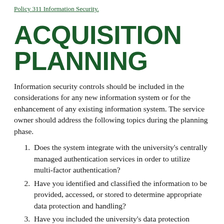Policy 311 Information Security.
ACQUISITION PLANNING
Information security controls should be included in the considerations for any new information system or for the enhancement of any existing information system. The service owner should address the following topics during the planning phase.
Does the system integrate with the university's centrally managed authentication services in order to utilize multi-factor authentication?
Have you identified and classified the information to be provided, accessed, or stored to determine appropriate data protection and handling?
Have you included the university's data protection